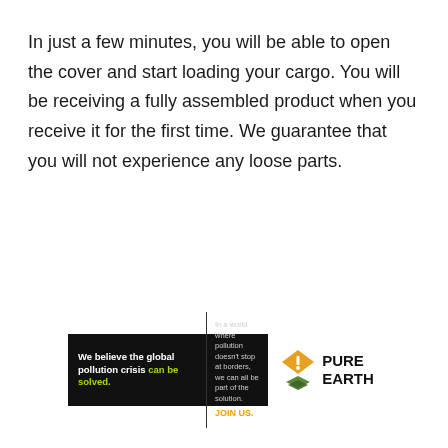In just a few minutes, you will be able to open the cover and start loading your cargo. You will be receiving a fully assembled product when you receive it for the first time. We guarantee that you will not experience any loose parts.
[Figure (infographic): Pure Earth advertisement banner with black background on left showing text 'We believe the global pollution crisis can be solved.' and middle text 'In a world where pollution doesn't stop at borders, we can all be part of the solution. JOIN US.' and Pure Earth logo on right with diamond/leaf icon.]